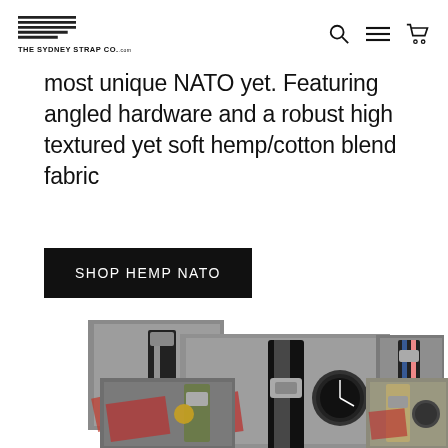THE SYDNEY STRAP CO.
most unique NATO yet. Featuring angled hardware and a robust high textured yet soft hemp/cotton blend fabric
SHOP HEMP NATO
[Figure (photo): Collage of watch straps including black NATO strap, striped NATO strap, and olive/khaki straps displayed on grey felt background with passport booklets]